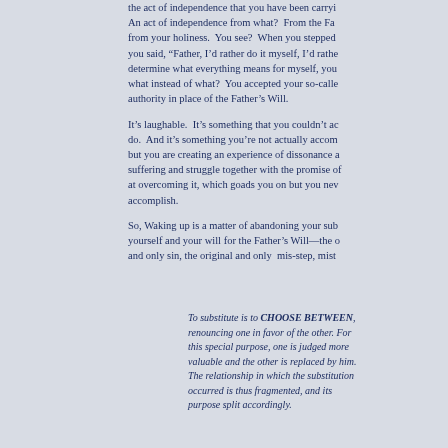the act of independence that you have been carrying. An act of independence from what? From the Father, from your holiness. You see? When you stepped away, you said, "Father, I'd rather do it myself, I'd rather determine what everything means for myself, you know what instead of what? You accepted your so-called authority in place of the Father's Will.
It's laughable. It's something that you couldn't actually do. And it's something you're not actually accomplishing, but you are creating an experience of dissonance and suffering and struggle together with the promise of success at overcoming it, which goads you on but you never accomplish.
So, Waking up is a matter of abandoning your substitution of yourself and your will for the Father's Will—the original and only sin, the original and only mis-step, mist...
To substitute is to CHOOSE BETWEEN, renouncing one in favor of the other. For this special purpose, one is judged more valuable and the other is replaced by him. The relationship in which the substitution occurred is thus fragmented, and its purpose split accordingly.